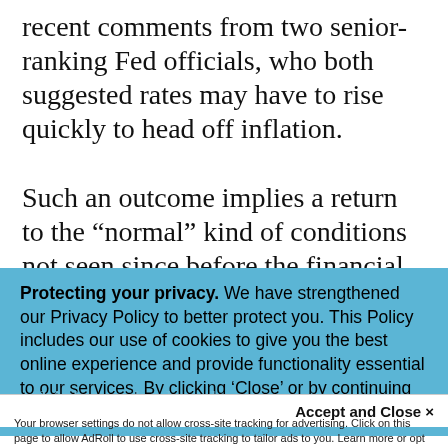recent comments from two senior-ranking Fed officials, who both suggested rates may have to rise quickly to head off inflation.
Such an outcome implies a return to the “normal” kind of conditions not seen since before the financial crisis of 2008, when it was more expensive to borrow money but
Protecting your privacy. We have strengthened our Privacy Policy to better protect you. This Policy includes our use of cookies to give you the best online experience and provide functionality essential to our services. By clicking ‘Close’ or by continuing to use our website, you are consenting to our
Accept and Close ×
Your browser settings do not allow cross-site tracking for advertising. Click on this page to allow AdRoll to use cross-site tracking to tailor ads to you. Learn more or opt out of this AdRoll tracking by clicking here. This message only appears once.